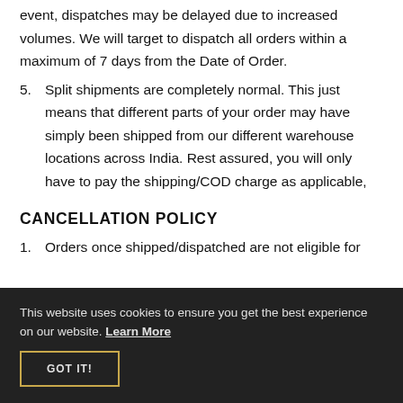event, dispatches may be delayed due to increased volumes. We will target to dispatch all orders within a maximum of 7 days from the Date of Order.
5. Split shipments are completely normal. This just means that different parts of your order may have simply been shipped from our different warehouse locations across India. Rest assured, you will only have to pay the shipping/COD charge as applicable,
CANCELLATION POLICY
1. Orders once shipped/dispatched are not eligible for
This website uses cookies to ensure you get the best experience on our website. Learn More
GOT IT!